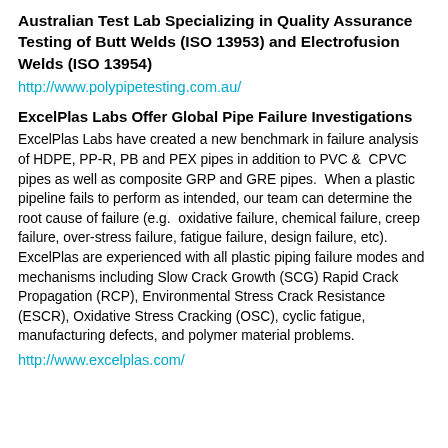Australian Test Lab Specializing in Quality Assurance Testing of Butt Welds (ISO 13953) and Electrofusion Welds (ISO 13954)
http://www.polypipetesting.com.au/
ExcelPlas Labs Offer Global Pipe Failure Investigations
ExcelPlas Labs have created a new benchmark in failure analysis of HDPE, PP-R, PB and PEX pipes in addition to PVC &  CPVC pipes as well as composite GRP and GRE pipes.  When a plastic pipeline fails to perform as intended, our team can determine the root cause of failure (e.g.  oxidative failure, chemical failure, creep failure, over-stress failure, fatigue failure, design failure, etc).  ExcelPlas are experienced with all plastic piping failure modes and mechanisms including Slow Crack Growth (SCG) Rapid Crack Propagation (RCP), Environmental Stress Crack Resistance (ESCR), Oxidative Stress Cracking (OSC), cyclic fatigue, manufacturing defects, and polymer material problems.
http://www.excelplas.com/